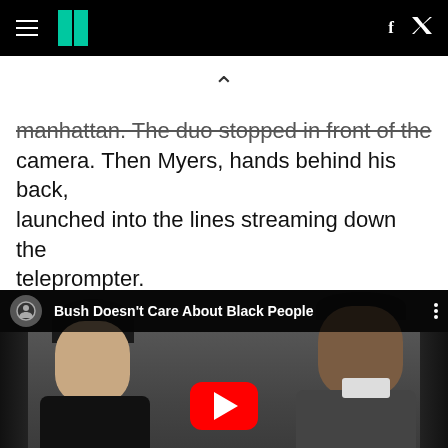HuffPost navigation bar with hamburger menu, logo, Facebook and Twitter icons
manhattan. The duo stopped in front of the camera. Then Myers, hands behind his back, launched into the lines streaming down the teleprompter.
[Figure (screenshot): YouTube video thumbnail titled 'Bush Doesn't Care About Black People' showing two men side by side — a white man in a dark jacket on the left and a Black man in a striped shirt on the right — with a red YouTube play button overlaid in the center. A YouTube avatar and three-dot menu icon appear in the top bar.]